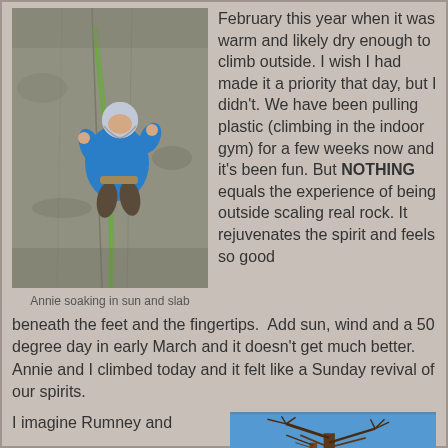[Figure (photo): Person in blue jacket and white helmet climbing a rock face with ropes visible, viewed from above]
Annie soaking in sun and slab
February this year when it was warm and likely dry enough to climb outside. I wish I had made it a priority that day, but I didn't. We have been pulling plastic (climbing in the indoor gym) for a few weeks now and it's been fun. But NOTHING equals the experience of being outside scaling real rock. It rejuvenates the spirit and feels so good
beneath the feet and the fingertips.  Add sun, wind and a 50 degree day in early March and it doesn't get much better.  Annie and I climbed today and it felt like a Sunday revival of our spirits.
I imagine Rumney and
[Figure (photo): Outdoor photo with blue sky and bare tree branches visible]